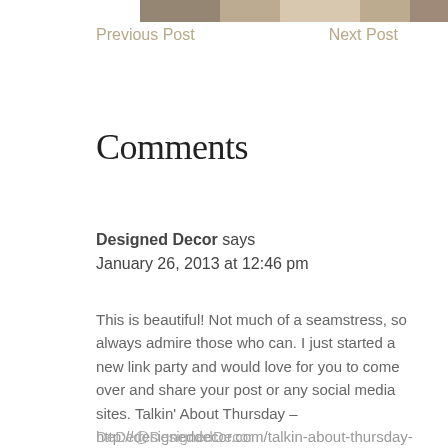[Figure (photo): Partial photo strip at the top of the page showing a blurred interior scene]
Previous Post
Next Post
Comments
Designed Decor says
January 26, 2013 at 12:46 pm
This is beautiful! Not much of a seamstress, so always admire those who can. I just started a new link party and would love for you to come over and share your post or any social media sites. Talkin' About Thursday – http://designeddecor.com/talkin-about-thursday-link-party4/
DeDe@DesignedDecor